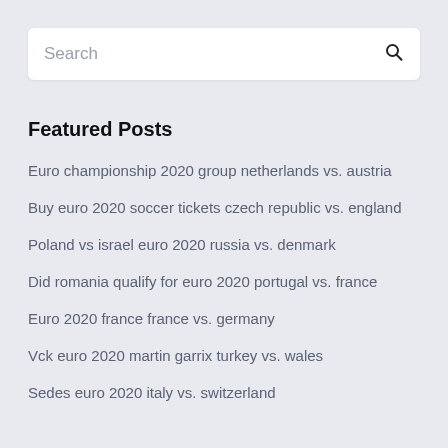[Figure (other): Search input bar with magnifying glass icon]
Featured Posts
Euro championship 2020 group netherlands vs. austria
Buy euro 2020 soccer tickets czech republic vs. england
Poland vs israel euro 2020 russia vs. denmark
Did romania qualify for euro 2020 portugal vs. france
Euro 2020 france france vs. germany
Vck euro 2020 martin garrix turkey vs. wales
Sedes euro 2020 italy vs. switzerland